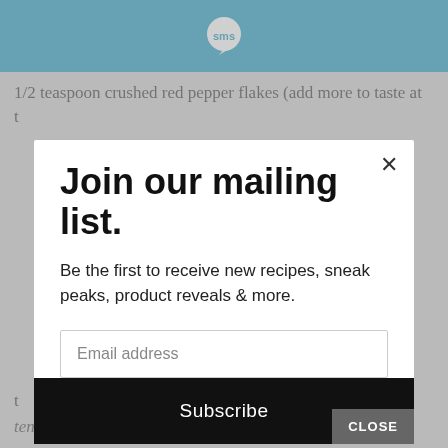[Figure (screenshot): Blue header bar with SMS speech bubble logo icon in white]
1/2 teaspoon crushed red pepper flakes (add more to taste at
t
tender crisp.
Serve in a bowl over rice.
Join our mailing list.
Be the first to receive new recipes, sneak peaks, product reveals & more.
Email address
Subscribe
CLOSE